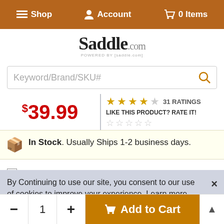☰ Shop  👤 Account  🛒 0 Items
[Figure (logo): Saddle.com logo with 'POWERED BY' tagline]
Keyword/Brand/SKU#
$39.99
31 RATINGS  LIKE THIS PRODUCT? RATE IT!
In Stock. Usually Ships 1-2 business days.
5 1/2 Inch   $39.49
Shipping weight = 1.00 lb.
Pay in 4 interest-free payments of $10.00 with PayPal. Learn more
Remind me to buy this later   Save item
By Continuing to use our site, you consent to our use of cookies to improve your experience. Learn more
- 1 + Add to Cart